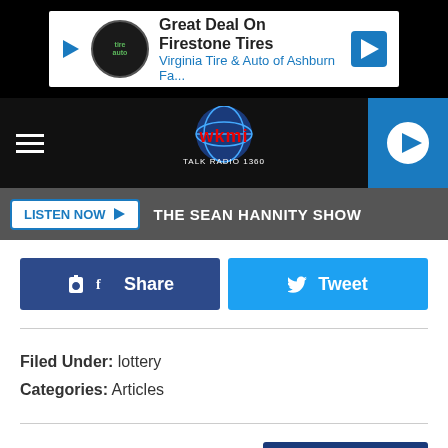[Figure (screenshot): Advertisement banner: Great Deal On Firestone Tires - Virginia Tire & Auto of Ashburn Fa...]
[Figure (screenshot): WKMI Talk Radio 1360 navigation bar with hamburger menu, logo, and play button]
LISTEN NOW  THE SEAN HANNITY SHOW
Share
Tweet
Filed Under: lottery
Categories: Articles
Comments
LEAVE A COMMENT
[Figure (screenshot): Advertisement banner: Buy 4 Tires, Save Up To $110 - Virginia Tire & Auto of Ashburn ...]